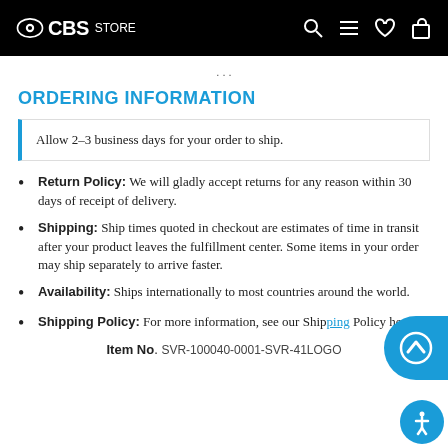CBS STORE
ORDERING INFORMATION
Allow 2-3 business days for your order to ship.
Return Policy: We will gladly accept returns for any reason within 30 days of receipt of delivery.
Shipping: Ship times quoted in checkout are estimates of time in transit after your product leaves the fulfillment center. Some items in your order may ship separately to arrive faster.
Availability: Ships internationally to most countries around the world.
Shipping Policy: For more information, see our Shipping Policy here.
Item No. SVR-100040-0001-SVR-41LOGO